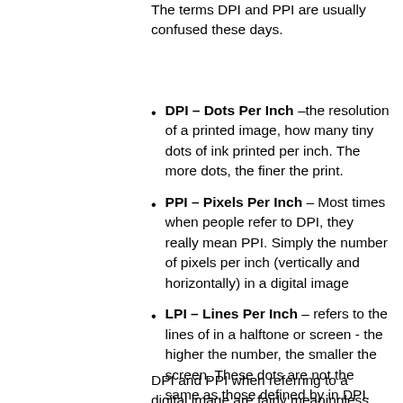The terms DPI and PPI are usually confused these days.
DPI – Dots Per Inch –the resolution of a printed image, how many tiny dots of ink printed per inch. The more dots, the finer the print.
PPI – Pixels Per Inch – Most times when people refer to DPI, they really mean PPI. Simply the number of pixels per inch (vertically and horizontally) in a digital image
LPI – Lines Per Inch – refers to the lines of in a halftone or screen - the higher the number, the smaller the screen. These dots are not the same as those defined by in DPI.
DPI and PPI when referring to a digital image are fairly meaningless without